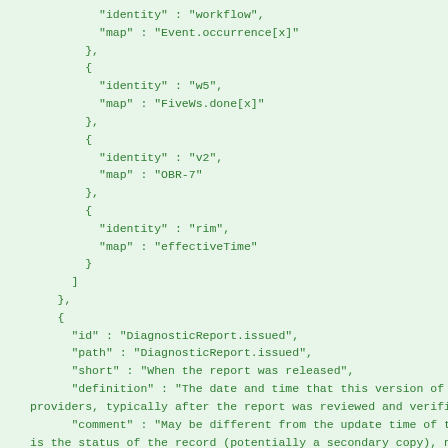JSON code snippet showing FHIR diagnostic report structure with identity/map fields and DiagnosticReport.issued field definition